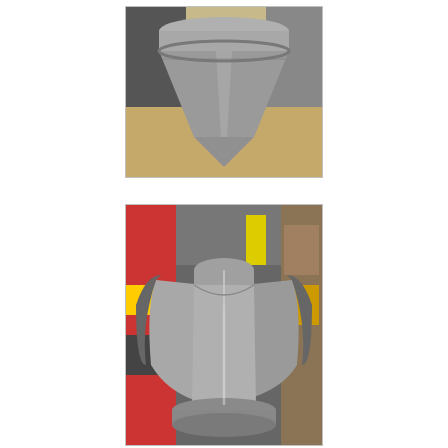[Figure (photo): A gray conical/funnel-shaped prop or costume piece (helmet or torso piece) sitting upright on a wooden workbench. The object tapers to a point at the bottom and has a circular rim at the top. Workshop background visible.]
[Figure (photo): A gray foam or resin body armor chest piece (torso armor) on a mannequin or stand, viewed from the front. The armor has curved chest plates, a collar/neck piece, and an open bottom. Colorful workshop/garage shelving visible in the background.]